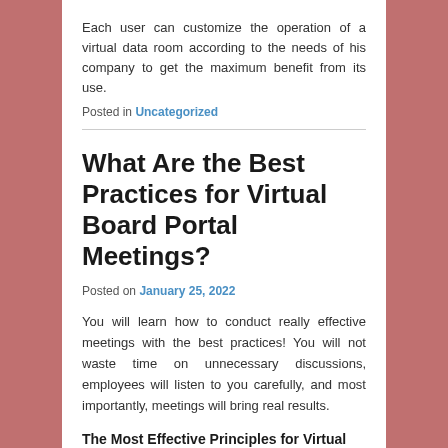Each user can customize the operation of a virtual data room according to the needs of his company to get the maximum benefit from its use.
Posted in Uncategorized
What Are the Best Practices for Virtual Board Portal Meetings?
Posted on January 25, 2022
You will learn how to conduct really effective meetings with the best practices! You will not waste time on unnecessary discussions, employees will listen to you carefully, and most importantly, meetings will bring real results.
The Most Effective Principles for Virtual Board Portal Meetings